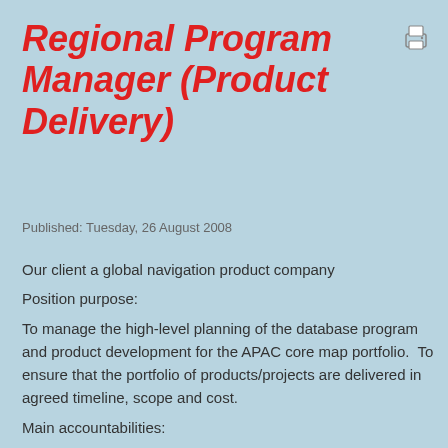Regional Program Manager (Product Delivery)
Published: Tuesday, 26 August 2008
Our client a global navigation product company
Position purpose:
To manage the high-level planning of the database program and product development for the APAC core map portfolio.  To ensure that the portfolio of products/projects are delivered in agreed timeline, scope and cost.
Main accountabilities:
=========
Responsible for the planning, tracking, and managing the portfolio of core product conversions.  Ensure the products meet the scope, timeline and expectations set by the Product Managers.  Address production issues with APAC Operations team and other groups within the TA organizations.  Monitor the documentations of the projects and progress of the projects.